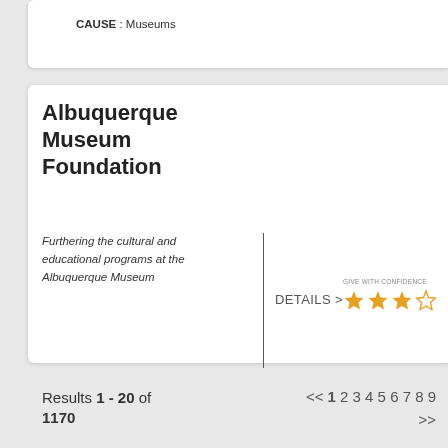CAUSE : Museums
Albuquerque Museum Foundation
Furthering the cultural and educational programs at the Albuquerque Museum
DETAILS >
[Figure (other): Give With Confidence rating badge showing 3 out of 5 stars (3 filled gold stars, 1 empty star)]
LOCATION: Albuquerque, NM
CATEGORY: Arts, Culture, Humanities
CAUSE : Museums
Results 1 - 20 of 1170
<< 1 2 3 4 5 6 7 8 9 >>